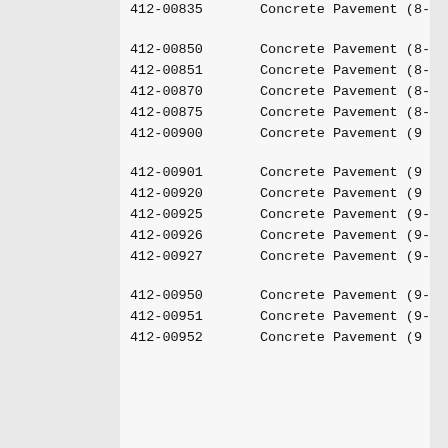| Code | Description |
| --- | --- |
| 412-00835 | Concrete Pavement (8-... |
| 412-00850 | Concrete Pavement (8-... |
| 412-00851 | Concrete Pavement (8-... |
| 412-00870 | Concrete Pavement (8-... |
| 412-00875 | Concrete Pavement (8-... |
| 412-00900 | Concrete Pavement (9 ... |
| 412-00901 | Concrete Pavement (9 ... |
| 412-00920 | Concrete Pavement (9 ... |
| 412-00925 | Concrete Pavement (9-... |
| 412-00926 | Concrete Pavement (9-... |
| 412-00927 | Concrete Pavement (9-... |
| 412-00950 | Concrete Pavement (9-... |
| 412-00951 | Concrete Pavement (9-... |
| 412-00952 | Concrete Pavement (9 ... |